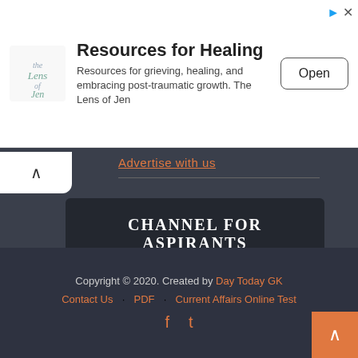[Figure (screenshot): Advertisement banner: logo for 'Lens of Jen', title 'Resources for Healing', body text about grieving and healing, and an 'Open' button]
Advertise with us
CHANNEL FOR ASPIRANTS
Join Our Official Channel Now
Copyright © 2020. Created by Day Today GK | Contact Us | PDF | Current Affairs Online Test